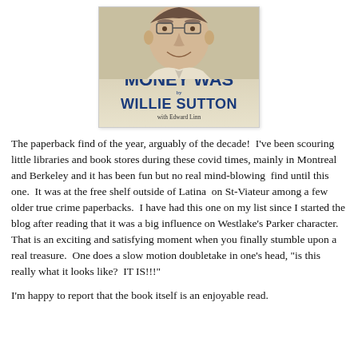[Figure (photo): Book cover of 'Where The Money Was' by Willie Sutton with Edward Linn. Shows a man's face illustration at the top and bold blue title text.]
The paperback find of the year, arguably of the decade!  I've been scouring little libraries and book stores during these covid times, mainly in Montreal and Berkeley and it has been fun but no real mind-blowing  find until this one.  It was at the free shelf outside of Latina  on St-Viateur among a few older true crime paperbacks.  I have had this one on my list since I started the blog after reading that it was a big influence on Westlake's Parker character.  That is an exciting and satisfying moment when you finally stumble upon a real treasure.  One does a slow motion doubletake in one's head, "is this really what it looks like?  IT IS!!!"
I'm happy to report that the book itself is an enjoyable read.